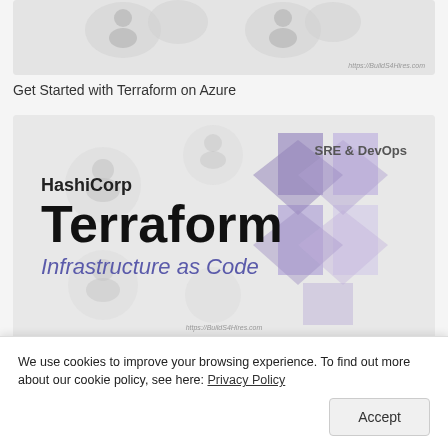[Figure (screenshot): Partially visible thumbnail image card with cloud/DevOps icons on light gray background with watermark text 'https://BuildS4Hires.com']
Get Started with Terraform on Azure
[Figure (screenshot): HashiCorp Terraform course thumbnail featuring large bold 'Terraform' text, 'Infrastructure as Code' subtitle in blue-purple, 'SRE & DevOps' label top right, purple diamond logo shapes, light gray background with watermark 'https://BuildS4Hires.com']
Terraform Quickstart Templates OSS Project from
We use cookies to improve your browsing experience. To find out more about our cookie policy, see here: Privacy Policy
Accept